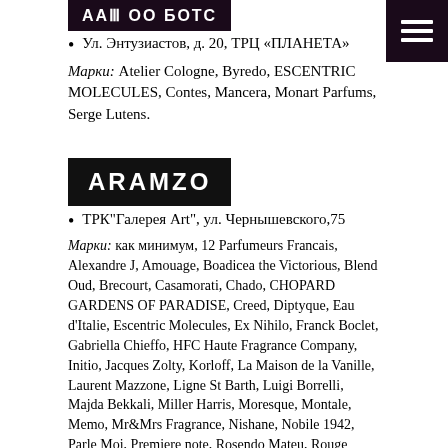[Figure (logo): Store logo with white text on dark background]
Ул. Энтузиастов, д. 20, ТРЦ «ПЛАНЕТА»
Марки: Atelier Cologne, Byredo, ESCENTRIC MOLECULES, Contes, Mancera, Monart Parfums, Serge Lutens.
[Figure (logo): ARAMZO logo in white text on black background]
ТРК"Галерея Art", ул. Чернышевского,75
Марки: как минимум, 12 Parfumeurs Francais, Alexandre J, Amouage, Boadicea the Victorious, Blend Oud, Brecourt, Casamorati, Chado, CHOPARD GARDENS OF PARADISE, Creed, Diptyque, Eau d'Italie, Escentric Molecules, Ex Nihilo, Franck Boclet, Gabriella Chieffo, HFC Haute Fragrance Company, Initio, Jacques Zolty, Korloff, La Maison de la Vanille, Laurent Mazzone, Ligne St Barth, Luigi Borrelli, Majda Bekkali, Miller Harris, Moresque, Montale, Memo, Mr&Mrs Fragrance, Nishane, Nobile 1942, Parle Moi, Premiere note, Rosendo Mateu, Rouge Bunny Rouge, Stephanie de Bruijn, Simimi, State of Mind, The Different Company, Uermi.